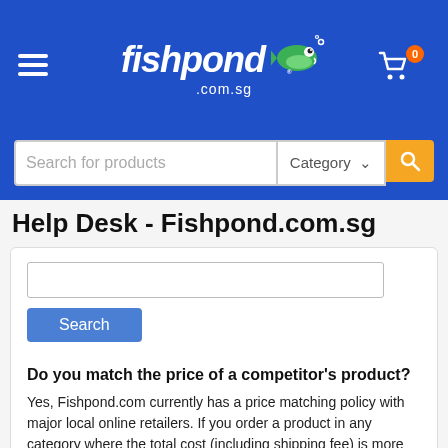[Figure (screenshot): Fishpond.com.sg website header with logo, menu icon, cart icon with badge '0']
[Figure (screenshot): Search bar with 'Search for products' placeholder, Category dropdown, and orange search button]
Help Desk - Fishpond.com.sg
Search button inside help desk card
Do you match the price of a competitor's product?
Yes, Fishpond.com currently has a price matching policy with major local online retailers. If you order a product in any category where the total cost (including shipping fee) is more expensive on Fishpond.com than with the other retailer, we will credit your Fishpond account with the difference plus 5%.
We do not accept claims for bargain books, out of stock or limited quantity items, coupons, online pricing that is limited to one day or less